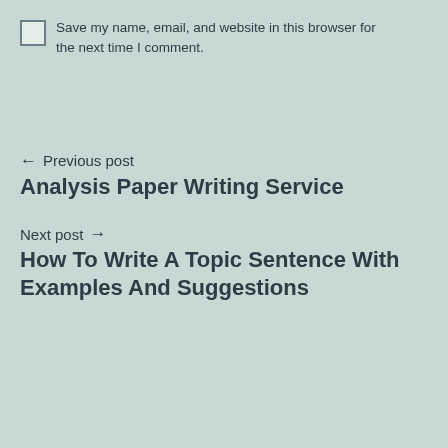Save my name, email, and website in this browser for the next time I comment.
← Previous post
Analysis Paper Writing Service
Next post →
How To Write A Topic Sentence With Examples And Suggestions